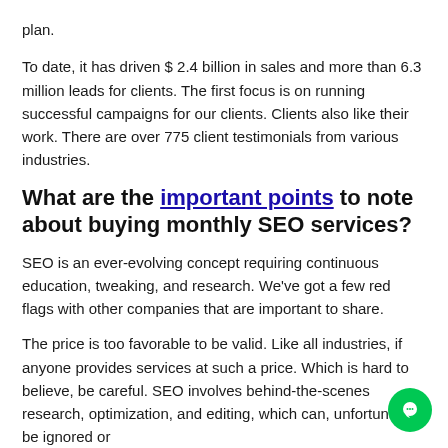plan.
To date, it has driven $ 2.4 billion in sales and more than 6.3 million leads for clients. The first focus is on running successful campaigns for our clients. Clients also like their work. There are over 775 client testimonials from various industries.
What are the important points to note about buying monthly SEO services?
SEO is an ever-evolving concept requiring continuous education, tweaking, and research. We've got a few red flags with other companies that are important to share.
The price is too favorable to be valid. Like all industries, if anyone provides services at such a price. Which is hard to believe, be careful. SEO involves behind-the-scenes research, optimization, and editing, which can, unfortunately, be ignored or misrepresented.